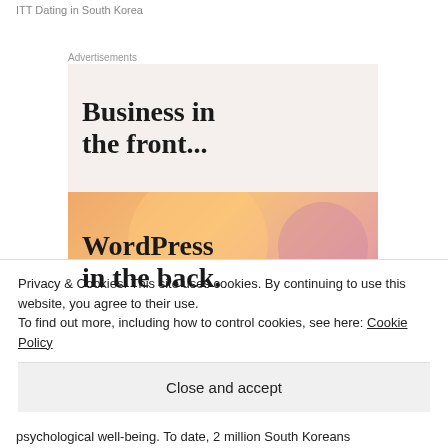ITT Dating in South Korea
Advertisements
[Figure (illustration): WordPress advertisement banner with two sections: top section on light beige background with bold serif text 'Business in the front...', bottom section with colorful gradient background (orange, peach, pink, mauve blobs) and bold serif text 'WordPress in the back.']
Privacy & Cookies: This site uses cookies. By continuing to use this website, you agree to their use.
To find out more, including how to control cookies, see here: Cookie Policy
Close and accept
psychological well-being. To date, 2 million South Koreans